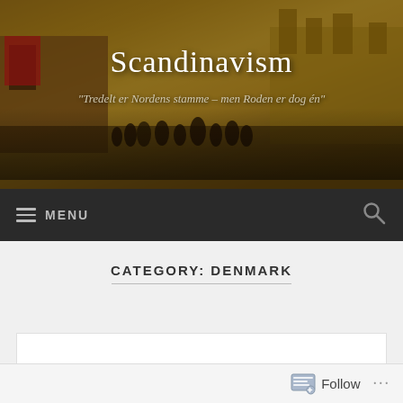[Figure (photo): Historical painting/illustration of a castle or fortress scene with figures in period clothing, used as website header banner background in warm sepia/golden tones]
Scandinavism
"Tredelt er Nordens stamme – men Roden er dog én"
≡ MENU
CATEGORY: DENMARK
Niels Ebbesen